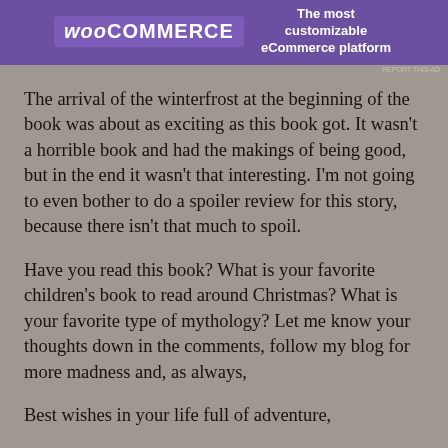[Figure (other): WooCommerce advertisement banner with purple background showing WooCommerce logo and tagline 'The most customizable eCommerce platform']
The arrival of the winterfrost at the beginning of the book was about as exciting as this book got. It wasn't a horrible book and had the makings of being good, but in the end it wasn't that interesting. I'm not going to even bother to do a spoiler review for this story, because there isn't that much to spoil.
Have you read this book? What is your favorite children's book to read around Christmas? What is your favorite type of mythology? Let me know your thoughts down in the comments, follow my blog for more madness and, as always,
Best wishes in your life full of adventure,